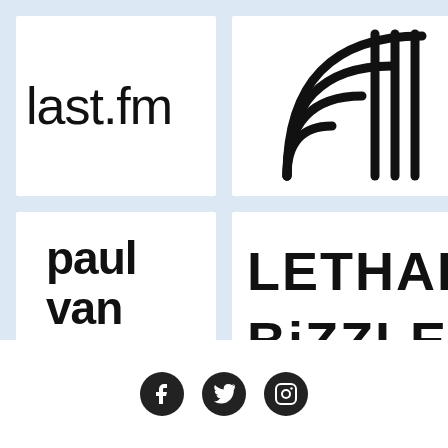[Figure (logo): last.fm logo in black lowercase text on white background]
[Figure (logo): Abstract logo with concentric arcs and vertical lines on white background]
[Figure (logo): paul van dyk logo in bold stylized black text on white background]
[Figure (logo): LETHAL BiZZLE logo in bold black uppercase text on white background]
[Figure (infographic): Footer with three social media icons: Facebook, Twitter, Instagram on white background]